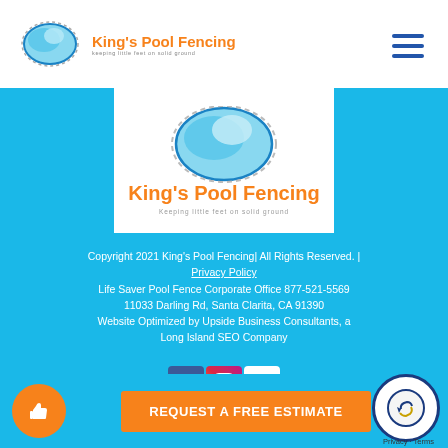[Figure (logo): King's Pool Fencing logo — small version in top-left header]
[Figure (logo): King's Pool Fencing logo — large version in white card on blue background]
Copyright 2021 King's Pool Fencing| All Rights Reserved. | Privacy Policy
Life Saver Pool Fence Corporate Office 877-521-5569
11033 Darling Rd, Santa Clarita, CA 91390
Website Optimized by Upside Business Consultants, a Long Island SEO Company
[Figure (logo): Social media icons: Facebook, Instagram, Google]
[Figure (logo): Orange circle with thumbs-up icon and orange CTA button: REQUEST A FREE ESTIMATE]
[Figure (logo): Google/review badge circle bottom right with Privacy - Terms text]